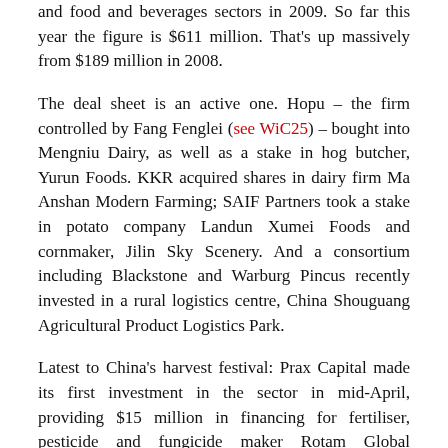and food and beverages sectors in 2009. So far this year the figure is $611 million. That's up massively from $189 million in 2008.
The deal sheet is an active one. Hopu – the firm controlled by Fang Fenglei (see WiC25) – bought into Mengniu Dairy, as well as a stake in hog butcher, Yurun Foods. KKR acquired shares in dairy firm Ma Anshan Modern Farming; SAIF Partners took a stake in potato company Landun Xumei Foods and cornmaker, Jilin Sky Scenery. And a consortium including Blackstone and Warburg Pincus recently invested in a rural logistics centre, China Shouguang Agricultural Product Logistics Park.
Latest to China's harvest festival: Prax Capital made its first investment in the sector in mid-April, providing $15 million in financing for fertiliser, pesticide and fungicide maker Rotam Global Agrosciences.
According to the Wall Street Journal it's a significant movement of capital during an era of major change in the countryside. "Private equity investors are helping to move land consolidation and that's the base for a productive ag base"